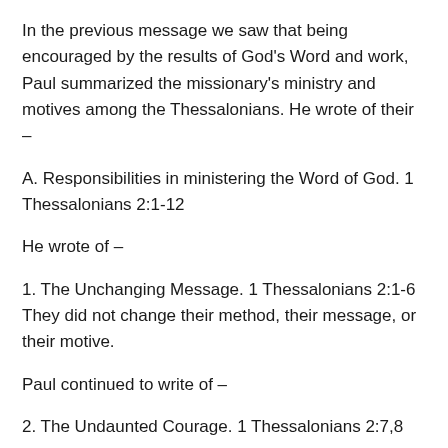In the previous message we saw that being encouraged by the results of God’s Word and work, Paul summarized the missionary’s ministry and motives among the Thessalonians. He wrote of their –
A. Responsibilities in ministering the Word of God. 1 Thessalonians 2:1-12
He wrote of –
1. The Unchanging Message. 1 Thessalonians 2:1-6
They did not change their method, their message, or their motive.
Paul continued to write of –
2. The Undaunted Courage. 1 Thessalonians 2:7,8